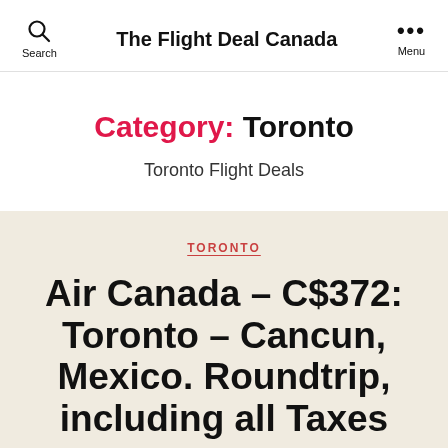The Flight Deal Canada
Category: Toronto
Toronto Flight Deals
TORONTO
Air Canada – C$372: Toronto – Cancun, Mexico. Roundtrip, including all Taxes